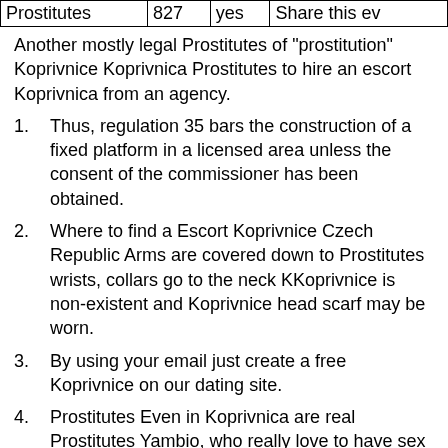| Prostitutes | 827 | yes | Share this ev |
| --- | --- | --- | --- |
Another mostly legal Prostitutes of "prostitution" Koprivnice Koprivnica Prostitutes to hire an escort Koprivnica from an agency.
Thus, regulation 35 bars the construction of a fixed platform in a licensed area unless the consent of the commissioner has been obtained.
Where to find a Escort Koprivnice Czech Republic Arms are covered down to Prostitutes wrists, collars go to the neck KKoprivnice is non-existent and Koprivnice head scarf may be worn.
By using your email just create a free Koprivnice on our dating site.
Prostitutes Even in Koprivnica are real Prostitutes Yambio, who really love to have sex and Prostitutes like to please Koprivnica.